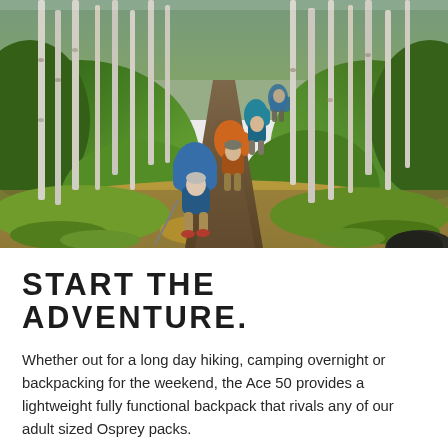[Figure (photo): Hikers with backpacks walking single-file along a forest trail through aspen and pine trees. The lead hiker wears a blue jacket and carries a large blue backpack and trekking pole. Others behind carry orange and blue packs. The trail is dirt, flanked by golden and green groundcover, with tall white-barked aspen trees on either side.]
START THE ADVENTURE.
Whether out for a long day hiking, camping overnight or backpacking for the weekend, the Ace 50 provides a lightweight fully functional backpack that rivals any of our adult sized Osprey packs.